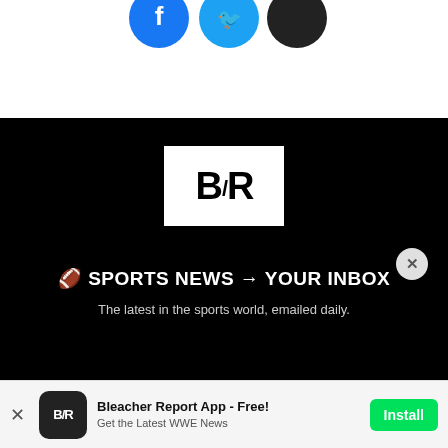[Figure (illustration): Three circular social media icon buttons (Facebook blue, Twitter blue, and dark circle) partially visible at the top of the page]
[Figure (logo): Bleacher Report B/R logo in white box on black background, large version centered in black section]
🏈 SPORTS NEWS → YOUR INBOX
The latest in the sports world, emailed daily.
[Figure (logo): Bleacher Report B/R app icon (white text on dark background, rounded square)]
Bleacher Report App - Free!
Get the Latest WWE News
Install